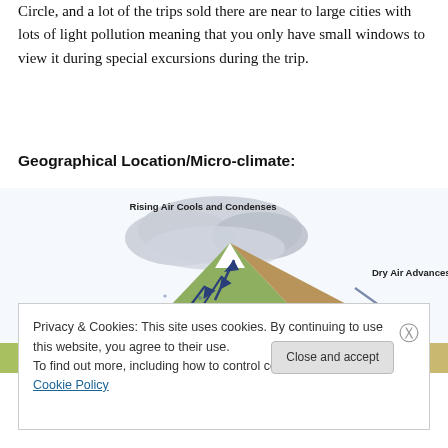possible to witness them there, which actually in the Arctic Circle, and a lot of the trips sold there are near to large cities with lots of light pollution meaning that you only have small windows to view it during special excursions during the trip.
Geographical Location/Micro-climate:
[Figure (illustration): Diagram of orographic lift showing 'Warm Moist Air' on the left approaching a mountain, 'Rising Air Cools and Condenses' with cloud forming at the peak, and 'Dry Air Advances' on the right side descending from the mountain.]
Privacy & Cookies: This site uses cookies. By continuing to use this website, you agree to their use.
To find out more, including how to control cookies, see here: Cookie Policy